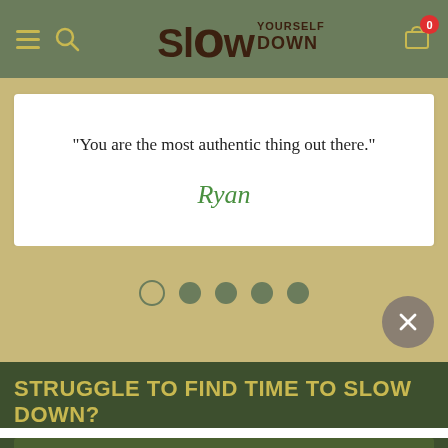SLOW YOURSELF DOWN – Navigation header with hamburger menu, search icon, logo, and cart icon (0 items)
"You are the most authentic thing out there."
Ryan
[Figure (other): Carousel pagination dots: 1 empty circle (current page indicator, unfilled), 4 filled dark green circles]
[Figure (other): Close/dismiss button: circular grey button with an X symbol]
STRUGGLE TO FIND TIME TO SLOW DOWN?
DOWNLOAD PDF